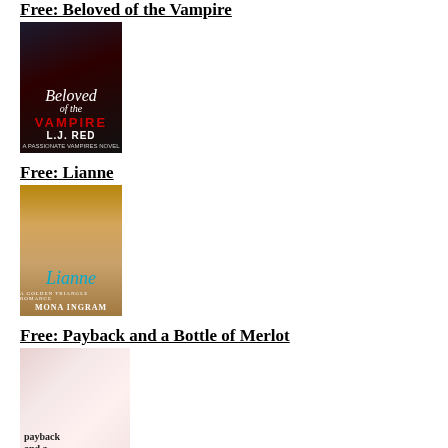Free: Beloved of the Vampire
[Figure (photo): Book cover for 'Beloved of the Vampire' by L.J. Red — dark moody cover with a shirtless male figure, script title text and bold VAMPIRE text in red, author name L.J. RED at bottom]
Free: Lianne
[Figure (photo): Book cover for 'Lianne' by Mona Ingram — warm golden-toned cover with a couple in an embrace, script 'Lianne' title in teal/blue, author name MONA INGRAM at bottom]
Free: Payback and a Bottle of Merlot
[Figure (photo): Book cover for 'Payback and a Bottle of Merlot' — light pinkish cover with text 'payback and a bottle of merlot' and imagery of a wine bottle]